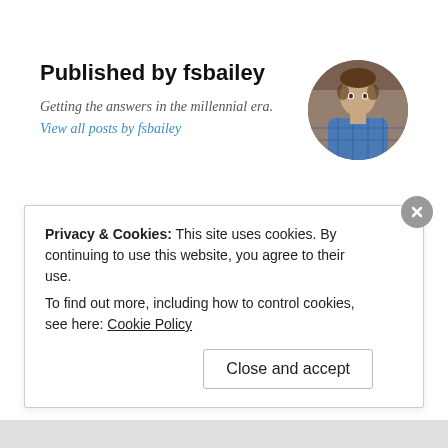Published by fsbailey
Getting the answers in the millennial era. View all posts by fsbailey
[Figure (photo): Circular avatar photo of a young man in a blue plaid shirt, sitting and looking at the camera]
< To be continued…
Building a Business in 30 Days >
Privacy & Cookies: This site uses cookies. By continuing to use this website, you agree to their use.
To find out more, including how to control cookies, see here: Cookie Policy
Close and accept